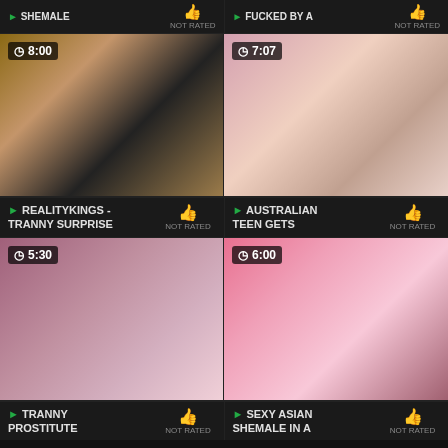[Figure (screenshot): Video thumbnail grid showing adult content previews with duration overlays and title/rating labels]
SHEMALE — NOT RATED
FUCKED BY A — NOT RATED
REALITYKINGS - TRANNY SURPRISE — NOT RATED
AUSTRALIAN TEEN GETS — NOT RATED
TRANNY PROSTITUTE — NOT RATED
SEXY ASIAN SHEMALE IN A — NOT RATED